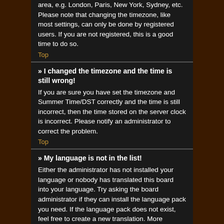area, e.g. London, Paris, New York, Sydney, etc. Please note that changing the timezone, like most settings, can only be done by registered users. If you are not registered, this is a good time to do so.
Top
» I changed the timezone and the time is still wrong!
If you are sure you have set the timezone and Summer Time/DST correctly and the time is still incorrect, then the time stored on the server clock is incorrect. Please notify an administrator to correct the problem.
Top
» My language is not in the list!
Either the administrator has not installed your language or nobody has translated this board into your language. Try asking the board administrator if they can install the language pack you need. If the language pack does not exist, feel free to create a new translation. More information can be found at the phpBB website.